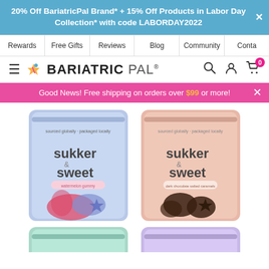20% Off BariatricPal Brand* + 15% Off Products in Labor Day Collection* with code LABORDAY2022
Rewards | Free Gifts | Reviews | Blog | Community | Conta
[Figure (logo): BariatricPal logo with hamburger menu, search, account, and cart icons]
Good News! Free shipping on orders over $99 or more!
[Figure (photo): Two sukker & sweet product bags side by side: blue bag (left) with candy gummies, pink/salmon bag (right) with dark chocolate covered candies. Below are partial tops of two more bags: teal/green (left) and lavender/purple (right).]